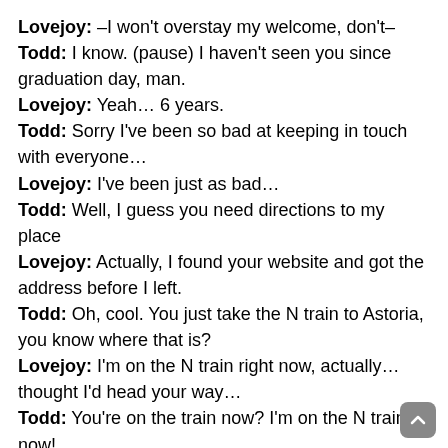Lovejoy: –I won't overstay my welcome, don't–
Todd: I know. (pause) I haven't seen you since graduation day, man.
Lovejoy: Yeah… 6 years.
Todd: Sorry I've been so bad at keeping in touch with everyone…
Lovejoy: I've been just as bad…
Todd: Well, I guess you need directions to my place
Lovejoy: Actually, I found your website and got the address before I left.
Todd: Oh, cool. You just take the N train to Astoria, you know where that is?
Lovejoy: I'm on the N train right now, actually… thought I'd head your way…
Todd: You're on the train now? I'm on the N train now!